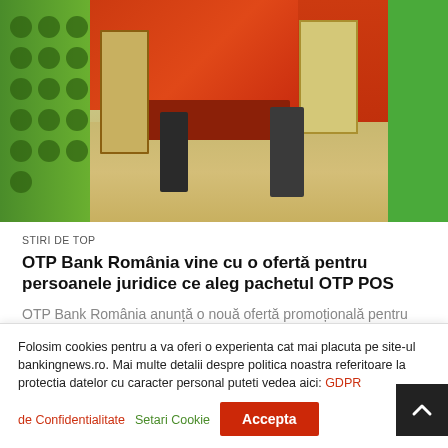[Figure (photo): Interior of an OTP Bank branch in Romania, showing green walls with circular dot pattern on the left, red/orange walls in the center-background, glass entrance doors, service counter with red desk, two people standing inside, and a light beige floor.]
STIRI DE TOP
OTP Bank România vine cu o ofertă pentru persoanele juridice ce aleg pachetul OTP POS
OTP Bank România anunță o nouă ofertă promoțională pentru pachetul
Folosim cookies pentru a va oferi o experienta cat mai placuta pe site-ul bankingnews.ro. Mai multe detalii despre politica noastra referitoare la protectia datelor cu caracter personal puteti vedea aici: GDPR
de Confidentialitate
Setari Cookie
Accepta